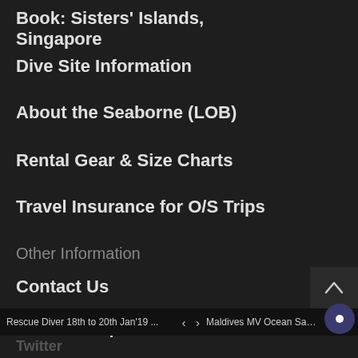Book: Sisters' Islands, Singapore
Dive Site Information
About the Seaborne (LOB)
Rental Gear & Size Charts
Travel Insurance for O/S Trips
Other Information
Contact Us
Location Map
Testimonials
Singapore Dive Doctor
Facebook
Rescue Diver 18th to 20th Jan'19 ...   < >   Maldives MV Ocean Sapp…
Twitter